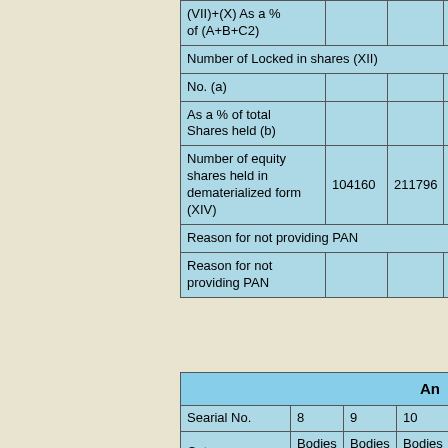|  |  |  |  |  |
| --- | --- | --- | --- | --- |
| (VII)+(X) As a % of (A+B+C2) |  |  |  |  |
| Number of Locked in shares (XII) |  |  |  |  |
| No. (a) |  |  |  |  |
| As a % of total Shares held (b) |  |  |  |  |
| Number of equity shares held in dematerialized form (XIV) | 104160 | 211796 | 1 | 22 |
| Reason for not providing PAN |  |  |  |  |
| Reason for not providing PAN |  |  |  |  |
|  | An |
| --- | --- |
| Searial No. | 8 | 9 | 10 |
| Category | Bodies Corporate | Bodies Corporate | Bodies Corporate |